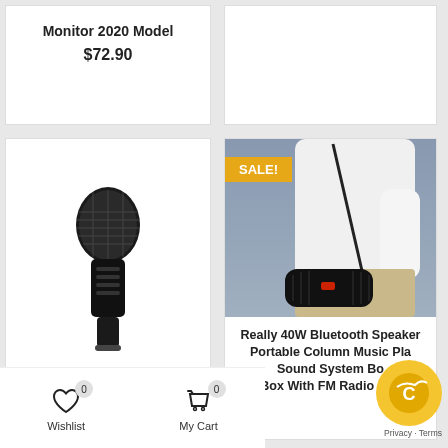Monitor 2020 Model
$72.90
[Figure (photo): Black Bluetooth Karaoke Microphone product photo on white background]
Bluetooth Karaoke Microphone (Black)
[Figure (photo): Person wearing a black portable Bluetooth speaker with strap, with a yellow SALE! badge]
Really 40W Bluetooth Speaker Portable Column Music Pla... Sound System Bo... Box With FM Radio Aux